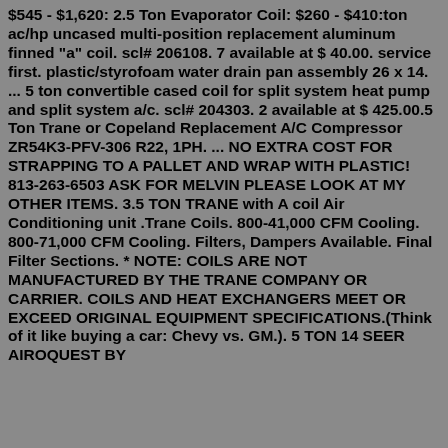$545 - $1,620: 2.5 Ton Evaporator Coil: $260 - $410:ton ac/hp uncased multi-position replacement aluminum finned "a" coil. scl# 206108. 7 available at $ 40.00. service first. plastic/styrofoam water drain pan assembly 26 x 14. ... 5 ton convertible cased coil for split system heat pump and split system a/c. scl# 204303. 2 available at $ 425.00.5 Ton Trane or Copeland Replacement A/C Compressor ZR54K3-PFV-306 R22, 1PH. ... NO EXTRA COST FOR STRAPPING TO A PALLET AND WRAP WITH PLASTIC! 813-263-6503 ASK FOR MELVIN PLEASE LOOK AT MY OTHER ITEMS. 3.5 TON TRANE with A coil Air Conditioning unit .Trane Coils. 800-41,000 CFM Cooling. 800-71,000 CFM Cooling. Filters, Dampers Available. Final Filter Sections. * NOTE: COILS ARE NOT MANUFACTURED BY THE TRANE COMPANY OR CARRIER. COILS AND HEAT EXCHANGERS MEET OR EXCEED ORIGINAL EQUIPMENT SPECIFICATIONS.(Think of it like buying a car: Chevy vs. GM.). 5 TON 14 SEER AIROQUEST BY